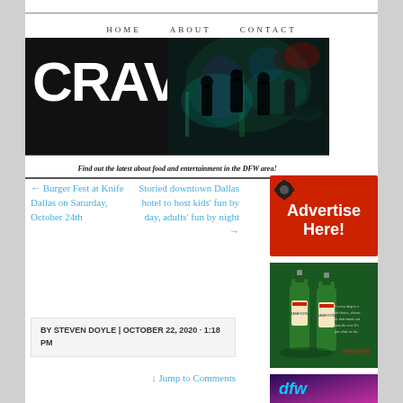HOME   ABOUT   CONTACT
[Figure (photo): CRAVE dfw banner with band photo and tagline: Find out the latest about food and entertainment in the DFW area!]
← Burger Fest at Knife Dallas on Saturday, October 24th
Storied downtown Dallas hotel to host kids' fun by day, adults' fun by night →
BY STEVEN DOYLE | OCTOBER 22, 2020 · 1:18 PM
↓ Jump to Comments
[Figure (photo): Advertise Here! button with gear icon on red background]
[Figure (photo): Jameson whiskey bottles advertisement on green background]
[Figure (photo): Colorful advertisement banner, purple/pink tones]